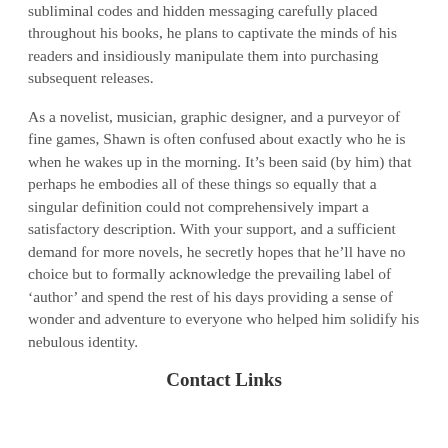subliminal codes and hidden messaging carefully placed throughout his books, he plans to captivate the minds of his readers and insidiously manipulate them into purchasing subsequent releases.
As a novelist, musician, graphic designer, and a purveyor of fine games, Shawn is often confused about exactly who he is when he wakes up in the morning. It’s been said (by him) that perhaps he embodies all of these things so equally that a singular definition could not comprehensively impart a satisfactory description. With your support, and a sufficient demand for more novels, he secretly hopes that he’ll have no choice but to formally acknowledge the prevailing label of ‘author’ and spend the rest of his days providing a sense of wonder and adventure to everyone who helped him solidify his nebulous identity.
Contact Links